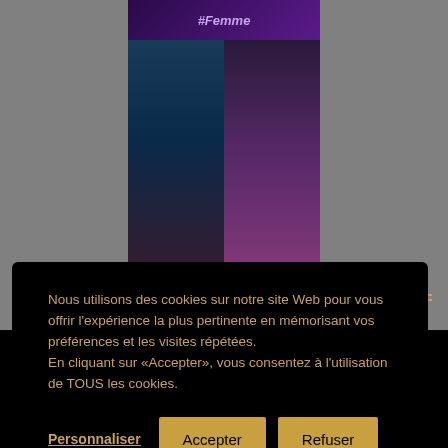[Figure (photo): Photo collage with '#Femme' text at top, two women portraits below — left side shows woman with colorful glasses in blue/teal tones, right side shows woman with afro hair in purple tones]
Nous utilisons des cookies sur notre site Web pour vous offrir l'expérience la plus pertinente en mémorisant vos préférences et les visites répétées.
En cliquant sur «Accepter», vous consentez à l'utilisation de TOUS les cookies.
Personnaliser   Accepter   Refuser
Libaco.fr © 2022. Tous droits réservés.
Fièrement propulsé par [WordPress] - Conçu par Thème Hueman